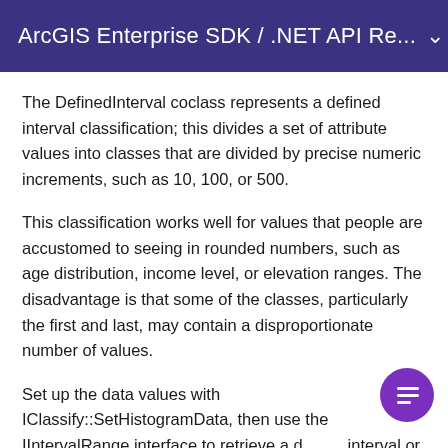ArcGIS Enterprise SDK / .NET API Re...
The DefinedInterval coclass represents a defined interval classification; this divides a set of attribute values into classes that are divided by precise numeric increments, such as 10, 100, or 500.
This classification works well for values that people are accustomed to seeing in rounded numbers, such as age distribution, income level, or elevation ranges. The disadvantage is that some of the classes, particularly the first and last, may contain a disproportionate number of values.
Set up the data values with IClassify::SetHistogramData, then use the IIntervalRange interface to retrieve a default interval or to set a different interval. This would typically